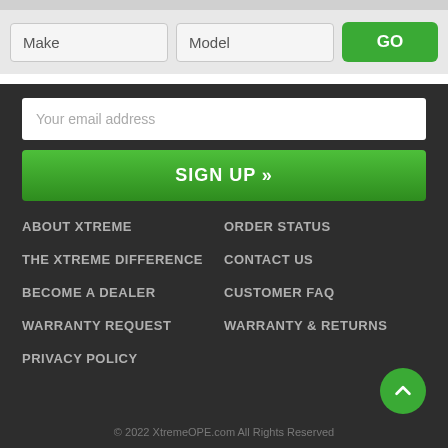[Figure (screenshot): Search bar with Make and Model input fields and a green GO button]
Your email address
SIGN UP »
ABOUT XTREME
ORDER STATUS
THE XTREME DIFFERENCE
CONTACT US
BECOME A DEALER
CUSTOMER FAQ
WARRANTY REQUEST
WARRANTY & RETURNS
PRIVACY POLICY
© 2022 XtremeOPE.com All Rights Reserved